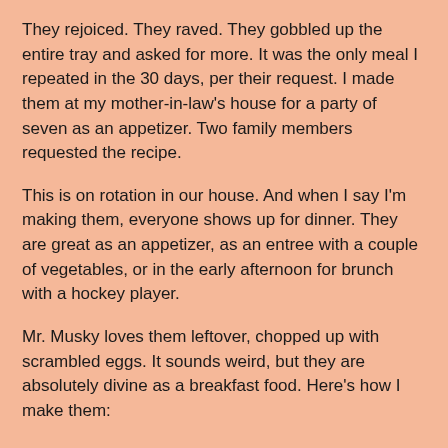They rejoiced. They raved. They gobbled up the entire tray and asked for more. It was the only meal I repeated in the 30 days, per their request. I made them at my mother-in-law's house for a party of seven as an appetizer. Two family members requested the recipe.
This is on rotation in our house. And when I say I'm making them, everyone shows up for dinner. They are great as an appetizer, as an entree with a couple of vegetables, or in the early afternoon for brunch with a hockey player.
Mr. Musky loves them leftover, chopped up with scrambled eggs. It sounds weird, but they are absolutely divine as a breakfast food. Here's how I make them:
Salmon Patties
2 wild caught sockeye salmon filets, about 12 ounces (NOT farm raised! Yuck!)
1 cup sweet potato, cooked
1 egg